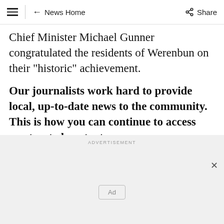≡ | ← News Home   Share
Chief Minister Michael Gunner congratulated the residents of Werenbun on their "historic" achievement.
Our journalists work hard to provide local, up-to-date news to the community. This is how you can continue to access our trusted content:
ADVERTISEMENT
Ad